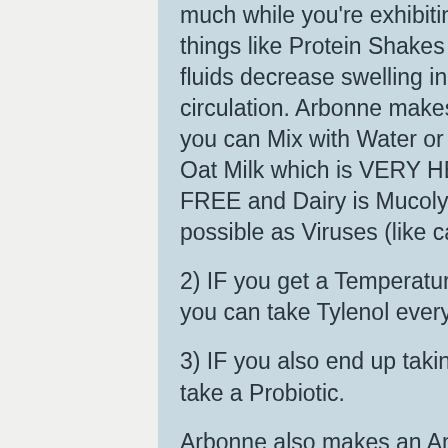much while you're exhibiting symptoms, so make sure you have things like Protein Shakes and (Dairy Free) soups. Warm salty fluids decrease swelling in your upper airway and improve circulation. Arbonne makes delicious Vegan Protein Shakes that you can Mix with Water or any Dairy Free Milk like Almond Milk or Oat Milk which is VERY HEALTHY. And Make sure to stay DAIRY FREE and Dairy is Mucolytic and SUGAR FREE as much as possible as Viruses (like cancers) feed off sugars.
2) IF you get a Temperature, which is anything 100.4 and above you can take Tylenol every 6 Hours until it comes down.
3) IF you also end up taking an Antibiotic its always suggested to take a Probiotic.
Arbonne also makes an Amazing Probiotic Probiotic to help replace the